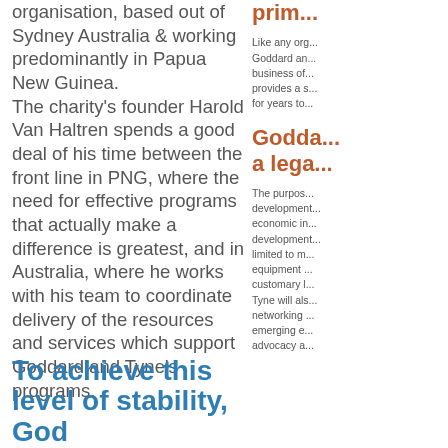organisation, based out of Sydney Australia & working predominantly in Papua New Guinea. The charity's founder Harold Van Haltren spends a good deal of his time between the front line in PNG, where the need for effective programs that actually make a difference is greatest, and in Australia, where he works with his team to coordinate delivery of the resources and services which support Goddard and Tyne's programs.
prime...
Like any org... Goddard an... business of... provides a s... for years to...
Godda... a lega...
The purpos... development... economic in... development... limited to m... equipment ... customary l... Tyne will als... networking ... emerging e... advocacy a...
To achieve this level of stability, God...